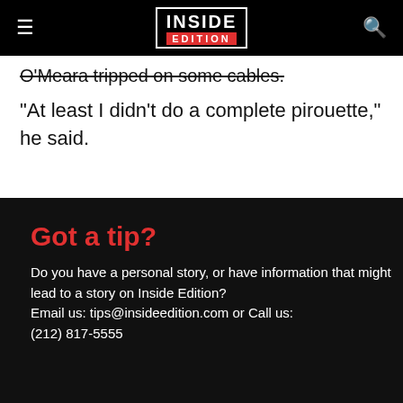INSIDE EDITION
O'Meara tripped on some cables.
"At least I didn't do a complete pirouette," he said.
Got a tip?
Do you have a personal story, or have information that might lead to a story on Inside Edition?
Email us: tips@insideedition.com or Call us: (212) 817-5555